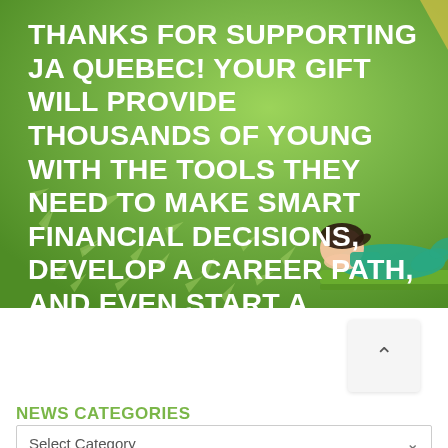[Figure (illustration): Green gradient banner with white bold uppercase text overlay, decorative paper airplanes floating in lower left, and a cartoon girl lying on a green surface reading on the right side.]
THANKS FOR SUPPORTING JA QUEBEC! YOUR GIFT WILL PROVIDE THOUSANDS OF YOUNG WITH THE TOOLS THEY NEED TO MAKE SMART FINANCIAL DECISIONS, DEVELOP A CAREER PATH, AND EVEN START A BUSINESS.
NEWS CATEGORIES
Select Category